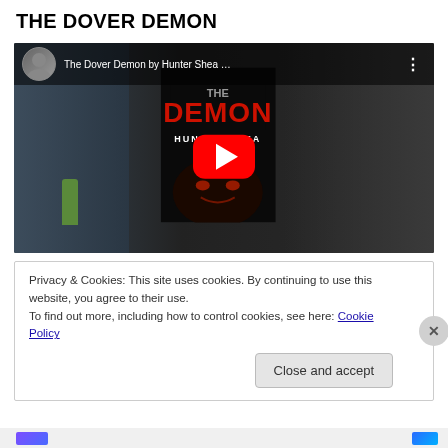THE DOVER DEMON
[Figure (screenshot): YouTube video thumbnail/embed showing a man holding 'The Dover Demon' book by Hunter Shea with a YouTube play button overlay. Video title: 'The Dover Demon by Hunter Shea ...']
Privacy & Cookies: This site uses cookies. By continuing to use this website, you agree to their use.
To find out more, including how to control cookies, see here: Cookie Policy
Close and accept